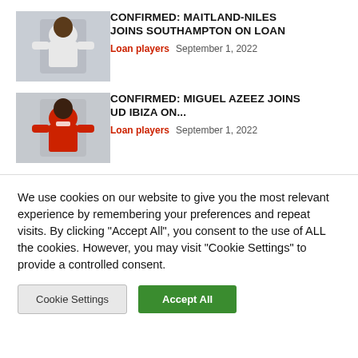[Figure (photo): Soccer player in white Arsenal Emirates kit, Maitland-Niles]
CONFIRMED: MAITLAND-NILES JOINS SOUTHAMPTON ON LOAN
Loan players   September 1, 2022
[Figure (photo): Soccer player in red Arsenal kit, Miguel Azeez]
CONFIRMED: MIGUEL AZEEZ JOINS UD IBIZA ON...
Loan players   September 1, 2022
We use cookies on our website to give you the most relevant experience by remembering your preferences and repeat visits. By clicking "Accept All", you consent to the use of ALL the cookies. However, you may visit "Cookie Settings" to provide a controlled consent.
Cookie Settings   Accept All